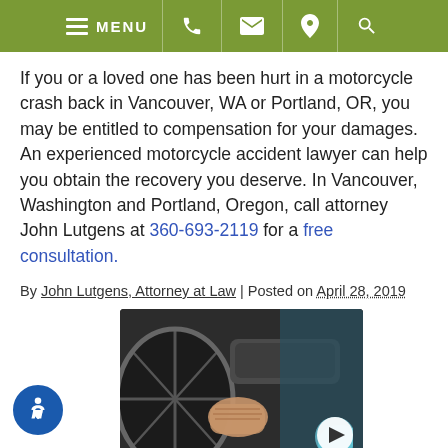MENU [navigation icons: phone, email, location, search]
If you or a loved one has been hurt in a motorcycle crash back in Vancouver, WA or Portland, OR, you may be entitled to compensation for your damages. An experienced motorcycle accident lawyer can help you obtain the recovery you deserve. In Vancouver, Washington and Portland, Oregon, call attorney John Lutgens at 360-693-2119 for a free consultation.
By John Lutgens, Attorney at Law | Posted on April 28, 2019
[Figure (photo): Close-up photo of a hand gripping a wheelchair wheel, with a video play button overlay. Labeled 'Personal Injury'.]
Personal Injury
[Figure (photo): Second thumbnail image, partially visible at bottom of page.]